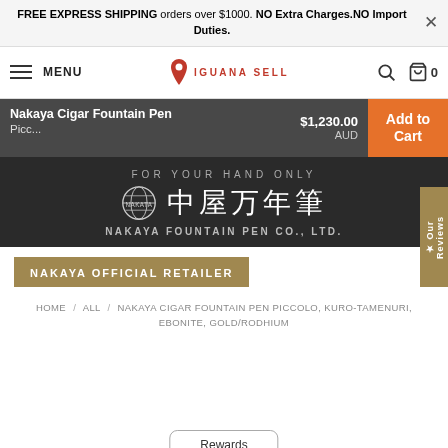FREE EXPRESS SHIPPING orders over $1000. NO Extra Charges.NO Import Duties.
MENU | IGUANA SELL | 0
Nakaya Cigar Fountain Pen Picc... $1,230.00 AUD Add to Cart
[Figure (logo): Nakaya Fountain Pen Co., Ltd. logo with Japanese kanji characters and globe emblem on dark background]
NAKAYA OFFICIAL RETAILER
HOME / ALL / NAKAYA CIGAR FOUNTAIN PEN PICCOLO, KURO-TAMENURI, EBONITE, GOLD/RODHIUM
Rewards